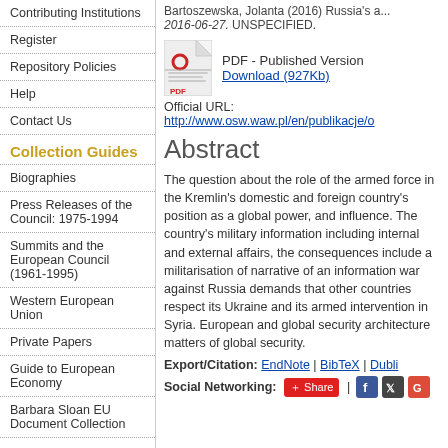Contributing Institutions
Register
Repository Policies
Help
Contact Us
Collection Guides
Biographies
Press Releases of the Council: 1975-1994
Summits and the European Council (1961-1995)
Western European Union
Private Papers
Guide to European Economy
Barbara Sloan EU Document Collection
Search and Browse
Bartoszewska, Jolanta (2016) Russia's... 2016-06-27. UNSPECIFIED.
PDF - Published Version Download (927Kb)
Official URL: http://www.osw.waw.pl/en/publikacje/o
Abstract
The question about the role of the armed force in the Kremlin's domestic and foreign country's position as a global power, and influence. The country's military information including internal and external affairs, the consequences include a militarisation of narrative of an information war against Russia demands that other countries respect its Ukraine and its armed intervention in Syria. European and global security architecture matters of global security.
Export/Citation: EndNote | BibTeX | Dublin
Social Networking: Share